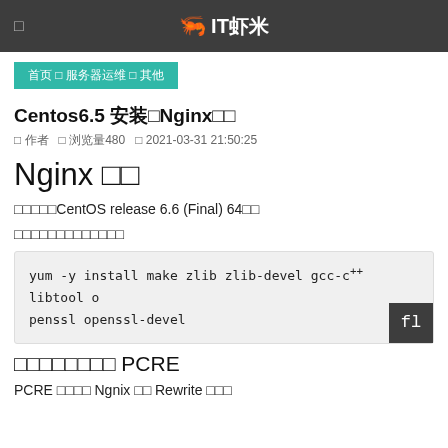□ IT虾米
首页 › 服务器运维 › 其他
Centos6.5 安装Nginx流程
□ 作者 □ 浏览量480 □ 2021-03-31 21:50:25
Nginx 环境
本次实验用CentOS release 6.6 (Final) 64位系统
安装依赖包（一键安装所有依赖包）
yum -y install make zlib zlib-devel gcc-c++ libtool openssl openssl-devel
一、安装编译工具及库文件 PCRE
PCRE作用是让 Ngnix 支持 Rewrite 功能。